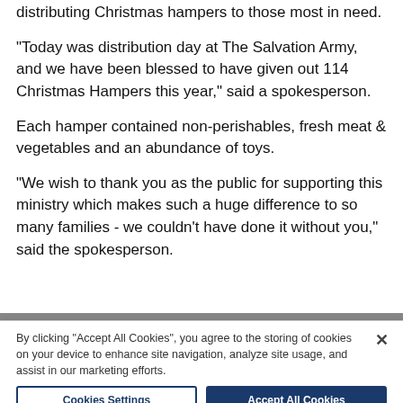distributing Christmas hampers to those most in need.
"Today was distribution day at The Salvation Army, and we have been blessed to have given out 114 Christmas Hampers this year," said a spokesperson.
Each hamper contained non-perishables, fresh meat & vegetables and an abundance of toys.
“We wish to thank you as the public for supporting this ministry which makes such a huge difference to so many families - we couldn’t have done it without you,” said the spokesperson.
By clicking “Accept All Cookies”, you agree to the storing of cookies on your device to enhance site navigation, analyze site usage, and assist in our marketing efforts.
Cookies Settings
Accept All Cookies